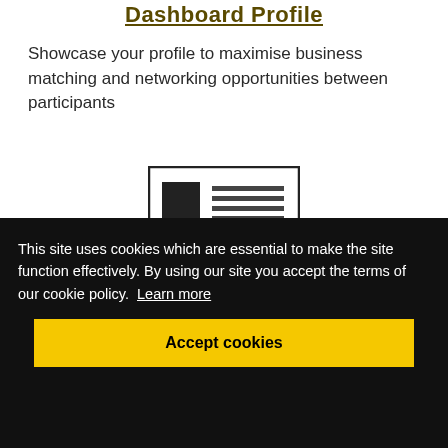Dashboard Profile
Showcase your profile to maximise business matching and networking opportunities between participants
[Figure (illustration): A simple wireframe illustration of a profile/dashboard card with a square placeholder image on the left and horizontal lines representing text on the right, inside a bordered rectangle.]
This site uses cookies which are essential to make the site function effectively. By using our site you accept the terms of our cookie policy. Learn more
Accept cookies